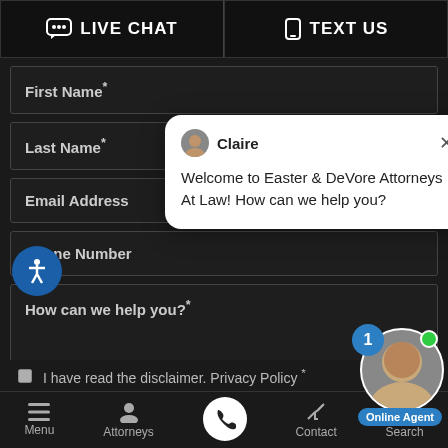[Figure (screenshot): Live Chat and Text Us buttons at top of law firm website]
First Name*
Last Name*
Email Address
Phone Number
How can we help you?*
[Figure (screenshot): Live chat popup from Claire: Welcome to Easter & DeVore Attorneys At Law! How can we help you?]
I have read the disclaimer. Privacy Policy *
Menu | Attorneys | (call button) | Contact | Search